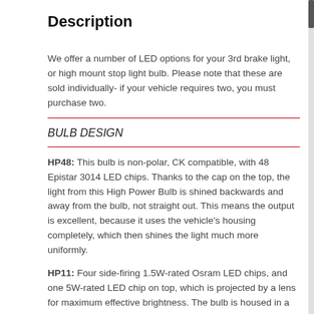Description
We offer a number of LED options for your 3rd brake light, or high mount stop light bulb. Please note that these are sold individually- if your vehicle requires two, you must purchase two.
BULB DESIGN
HP48: This bulb is non-polar, CK compatible, with 48 Epistar 3014 LED chips. Thanks to the cap on the top, the light from this High Power Bulb is shined backwards and away from the bulb, not straight out. This means the output is excellent, because it uses the vehicle's housing completely, which then shines the light much more uniformly.
HP11: Four side-firing 1.5W-rated Osram LED chips, and one 5W-rated LED chip on top, which is projected by a lens for maximum effective brightness. The bulb is housed in a machined aluminum casing, which provides superior heat diffusion for long life.
XP80: Each of the four sides of this bulb contains three 5W-rated chips, and the top is fitted with four more under a projector lens. This is the brightest self-contained